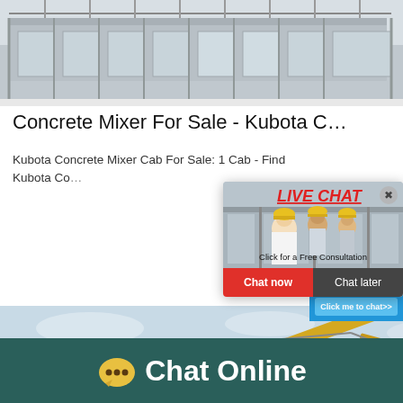[Figure (photo): Industrial factory building exterior with steel structure and large windows, gray tones]
Concrete Mixer For Sale - Kubota C…
Kubota Concrete Mixer Cab For Sale: 1 Cab - Find Kubota Co…
[Figure (screenshot): Live chat popup with three workers in yellow hard hats, red LIVE CHAT text, 'Click for a Free Consultation', Chat now and Chat later buttons]
[Figure (photo): Excavator on a construction site with blue sky background, yellow arm visible]
[Figure (screenshot): Right sidebar blue panel with 'hour online' text, industrial crusher machine image, and 'Click me to chat>>' button]
Chat Online